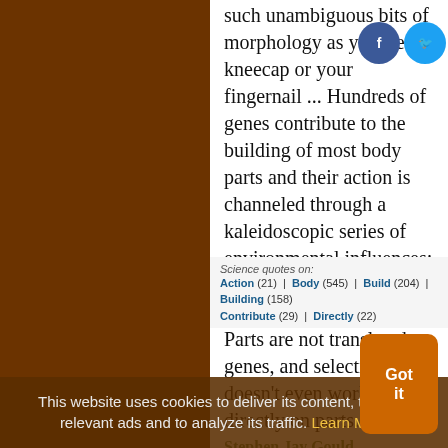such unambiguous bits of morphology as your left kneecap or your fingernail ... Hundreds of genes contribute to the building of most body parts and their action is channeled through a kaleidoscopic series of environmental influences: embryonic and postnatal, internal and external. Parts are not translated genes, and selection doesn't even work directly on parts.
Stephen Jay Gould
Science quotes on: | Body (545) | Build (204) | Building (158) | Contribute (29) | Directly (22) | ...
This website uses cookies to deliver its content, to show relevant ads and to analyze its traffic. Learn More
Got it